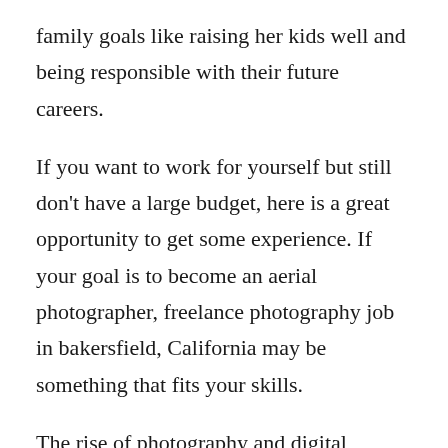family goals like raising her kids well and being responsible with their future careers.
If you want to work for yourself but still don't have a large budget, here is a great opportunity to get some experience. If your goal is to become an aerial photographer, freelance photography job in bakersfield, California may be something that fits your skills.
The rise of photography and digital photography is, hands down, the most exciting thing going on. It's a growth industry that has no age limit, no gender restrictions, and can be done at any stage of the manufacturing process. Whether you choose to